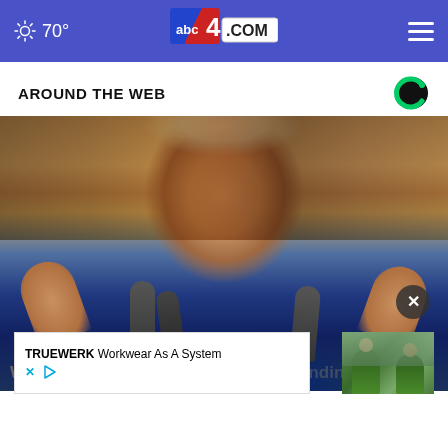abc4.com — 70° weather header with navigation
AROUND THE WEB
[Figure (photo): Photograph of President Biden speaking at a podium with microphones, hands raised, wearing a blue suit and blue tie, with ornate painting in background]
White House reveals plan to boost funding
[Figure (photo): Advertisement thumbnail showing workers in green jackets outdoors with trees]
TRUEWERK Workwear As A System